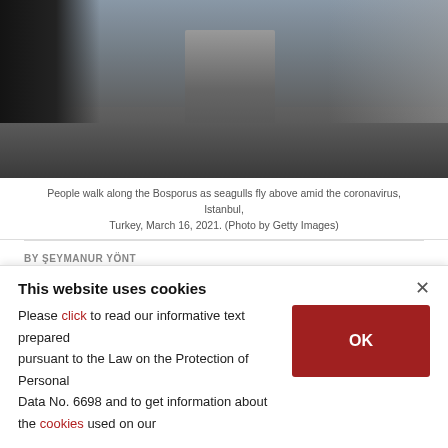[Figure (photo): People walking along the Bosporus waterfront in Istanbul, with a stroller and seagulls visible, taken during coronavirus pandemic, March 16, 2021.]
People walk along the Bosporus as seagulls fly above amid the coronavirus, Istanbul, Turkey, March 16, 2021. (Photo by Getty Images)
BY ŞEYMANUR YÖNT
MAR 23, 2021 12:05 AM
The announced road map includes detailed
This website uses cookies
×
Please click to read our informative text prepared pursuant to the Law on the Protection of Personal Data No. 6698 and to get information about the cookies used on our
OK